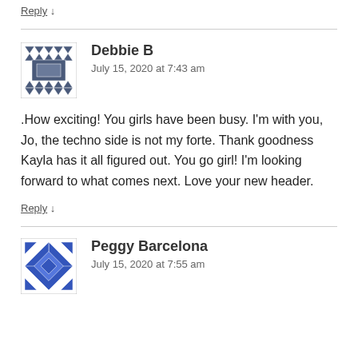Reply ↓
[Figure (illustration): Quilted pattern avatar icon for user Debbie B, dark blue/grey geometric pattern]
Debbie B
July 15, 2020 at 7:43 am
.How exciting! You girls have been busy. I'm with you, Jo, the techno side is not my forte. Thank goodness Kayla has it all figured out. You go girl! I'm looking forward to what comes next. Love your new header.
Reply ↓
[Figure (illustration): Quilted pattern avatar icon for user Peggy Barcelona, blue geometric pattern]
Peggy Barcelona
July 15, 2020 at 7:55 am